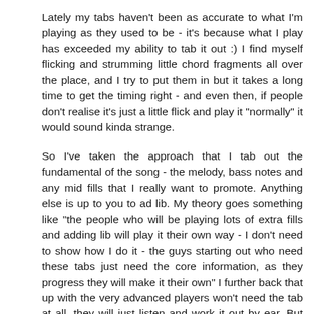Lately my tabs haven't been as accurate to what I'm playing as they used to be - it's because what I play has exceeded my ability to tab it out :) I find myself flicking and strumming little chord fragments all over the place, and I try to put them in but it takes a long time to get the timing right - and even then, if people don't realise it's just a little flick and play it "normally" it would sound kinda strange.
So I've taken the approach that I tab out the fundamental of the song - the melody, bass notes and any mid fills that I really want to promote. Anything else is up to you to ad lib. My theory goes something like "the people who will be playing lots of extra fills and adding lib will play it their own way - I don't need to show how I do it - the guys starting out who need these tabs just need the core information, as they progress they will make it their own" I further back that up with the very advanced players won't need the tab at all, they will just listen and work it out by ear. But then, those guys would be too busy doing their own stuff to bother with what I do! :)
Keep up the good work, and yep, "Something" is just about